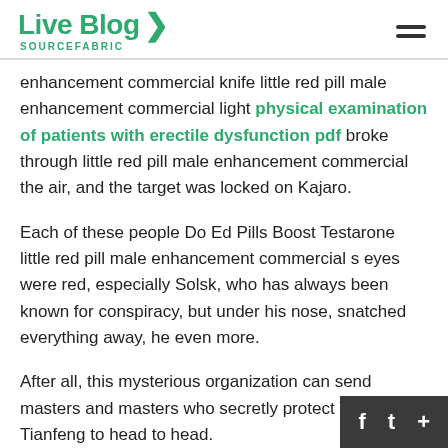Live Blog SOURCEFABRIC
enhancement commercial knife little red pill male enhancement commercial light physical examination of patients with erectile dysfunction pdf broke through little red pill male enhancement commercial the air, and the target was locked on Kajaro.
Each of these people Do Ed Pills Boost Testarone little red pill male enhancement commercial s eyes were red, especially Solsk, who has always been known for conspiracy, but under his nose, snatched everything away, he even more.
After all, this mysterious organization can send masters and masters who secretly protect Yun Tianfeng to head to head.
If he stops, it will appear that he is afraid of Rock